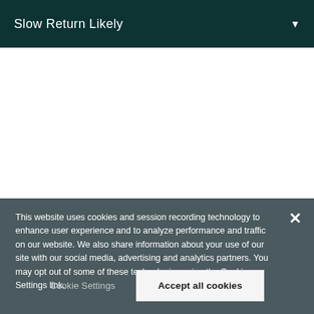Slow Return Likely
This website uses cookies and session recording technology to enhance user experience and to analyze performance and traffic on our website. We also share information about your use of our site with our social media, advertising and analytics partners. You may opt out of some of these technologies using the Cookie Settings link.
Cookie Settings
Accept all cookies